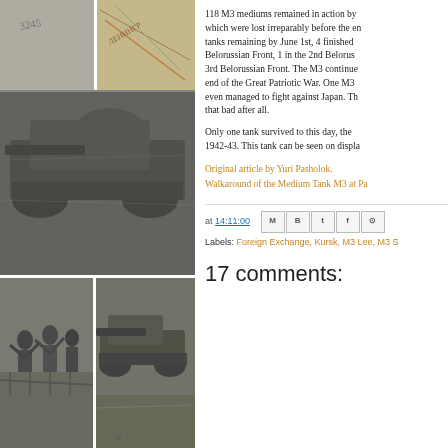[Figure (photo): Collage of black-and-white historical photographs of tanks and military scenes, arranged in a vertical strip on the left side of the page]
118 M3 mediums remained in action by which were lost irreparably before the en tanks remaining by June 1st, 4 finished Belorussian Front, 1 in the 2nd Belorus 3rd Belorussian Front. The M3 continue end of the Great Patriotic War. One M3 even managed to fight against Japan. Th that bad after all.
Only one tank survived to this day, the 1942-43. This tank can be seen on displa
Original article by Yuri Pasholok.
Walkaround of the Medium Tank M3 at Pa
at 14:11:00
Labels: Foreign Exchange, Kursk, M3 Lee, M3 S
17 comments: